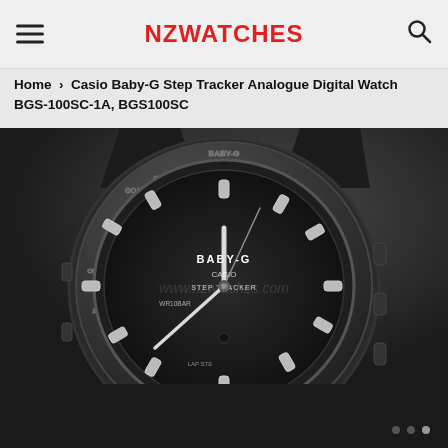NZWATCHES
Home › Casio Baby-G Step Tracker Analogue Digital Watch BGS-100SC-1A, BGS100SC
[Figure (photo): Close-up photo of a Casio Baby-G Step Tracker analogue digital watch (model BGS-100SC-1A) in black colorway. The watch face shows 'BABY-G CASIO STEP TRACKER' text, 'WR10BAR' water resistance marking, and a step tracking bezel with 'GOAL' and 'ADJUST' labels. The watch has a black resin strap and case. Watermark text 'www.nzwatches.com' is visible across the middle of the image.]